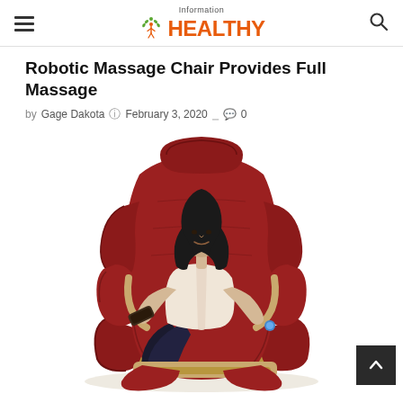Information HEALTHY
Robotic Massage Chair Provides Full Massage
by Gage Dakota  February 3, 2020  0
[Figure (photo): A woman sitting in a large red/maroon robotic massage chair, holding a remote control, wearing a light blouse and dark pants, on a white background.]